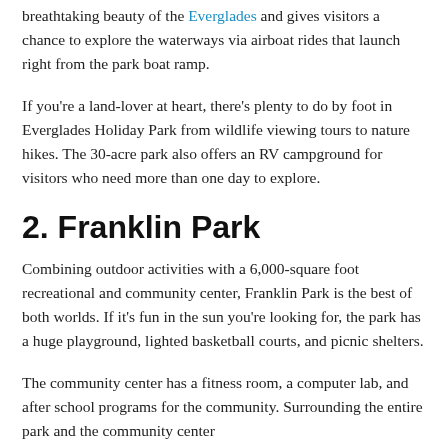breathtaking beauty of the Everglades and gives visitors a chance to explore the waterways via airboat rides that launch right from the park boat ramp.
If you're a land-lover at heart, there's plenty to do by foot in Everglades Holiday Park from wildlife viewing tours to nature hikes. The 30-acre park also offers an RV campground for visitors who need more than one day to explore.
2. Franklin Park
Combining outdoor activities with a 6,000-square foot recreational and community center, Franklin Park is the best of both worlds. If it's fun in the sun you're looking for, the park has a huge playground, lighted basketball courts, and picnic shelters.
The community center has a fitness room, a computer lab, and after school programs for the community. Surrounding the entire park and the community center